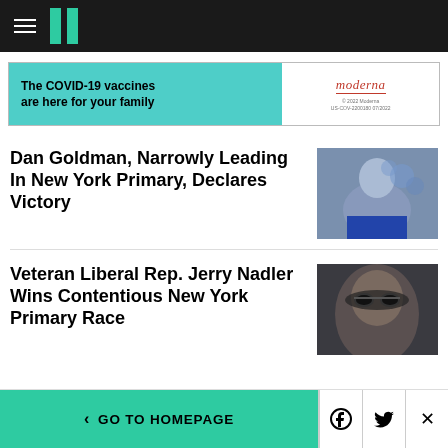HuffPost navigation bar with hamburger menu and logo
[Figure (other): Moderna COVID-19 vaccine advertisement banner: 'The COVID-19 vaccines are here for your family' with Moderna logo]
Dan Goldman, Narrowly Leading In New York Primary, Declares Victory
[Figure (photo): Photo of Dan Goldman at a podium waving, with blue balloons in background]
Veteran Liberal Rep. Jerry Nadler Wins Contentious New York Primary Race
[Figure (photo): Close-up photo of Jerry Nadler wearing glasses, looking upward]
< GO TO HOMEPAGE  [Facebook icon]  [Twitter icon]  [X/close]